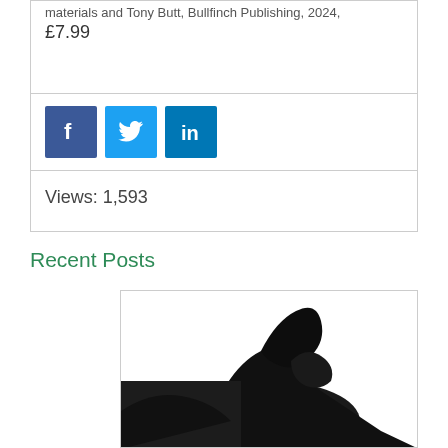materials and Tony Butt, Bullfinch Publishing, 2024, £7.99
[Figure (infographic): Social media share buttons: Facebook (blue square with white f), Twitter (light blue square with white bird), LinkedIn (teal square with white 'in')]
Views: 1,593
Recent Posts
[Figure (photo): Silhouette of a person's arm and hand holding what appears to be a book or object, dark image against white background]